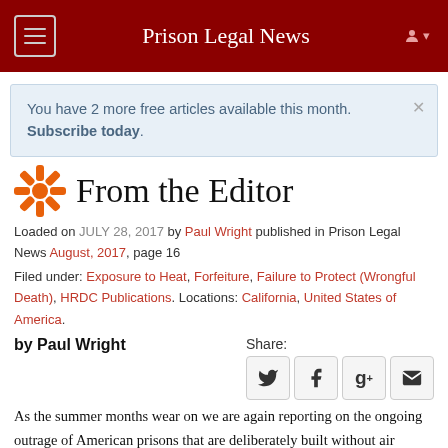Prison Legal News
You have 2 more free articles available this month. Subscribe today.
From the Editor
Loaded on JULY 28, 2017 by Paul Wright published in Prison Legal News August, 2017, page 16
Filed under: Exposure to Heat, Forfeiture, Failure to Protect (Wrongful Death), HRDC Publications. Locations: California, United States of America.
by Paul Wright
As the summer months wear on we are again reporting on the ongoing outrage of American prisons that are deliberately built without air conditioning in some of the hottest parts of the country. As an article in this issue of PLN notes, the death toll from heat exposure continues to climb in several states, all in the former Confederacy, which built prisons without climate-controlled